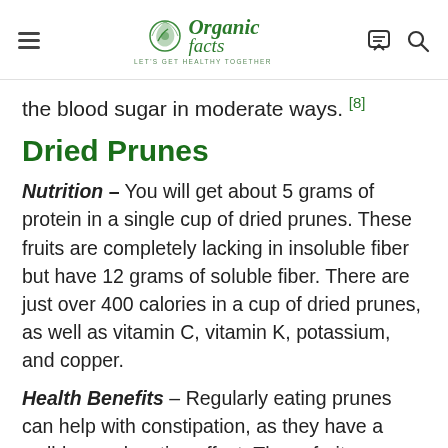Organic Facts — LET'S GET HEALTHY TOGETHER
the blood sugar in moderate ways. [8]
Dried Prunes
Nutrition – You will get about 5 grams of protein in a single cup of dried prunes. These fruits are completely lacking in insoluble fiber but have 12 grams of soluble fiber. There are just over 400 calories in a cup of dried prunes, as well as vitamin C, vitamin K, potassium, and copper.
Health Benefits – Regularly eating prunes can help with constipation, as they have a well-known laxative effect. These fruits are most famous for this property but they can also help improve muscle